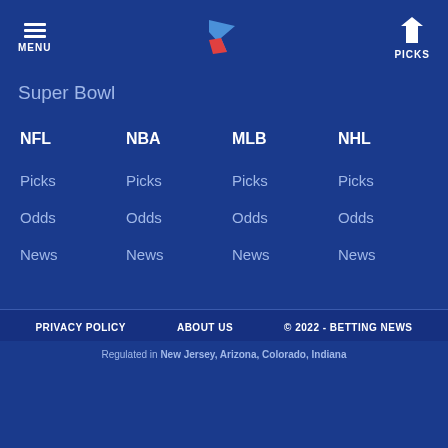MENU | [logo] | PICKS
Super Bowl
NFL | NBA | MLB | NHL
Picks | Picks | Picks | Picks
Odds | Odds | Odds | Odds
News | News | News | News
PRIVACY POLICY | ABOUT US | © 2022 - BETTING NEWS
Regulated in New Jersey, Arizona, Colorado, Indiana